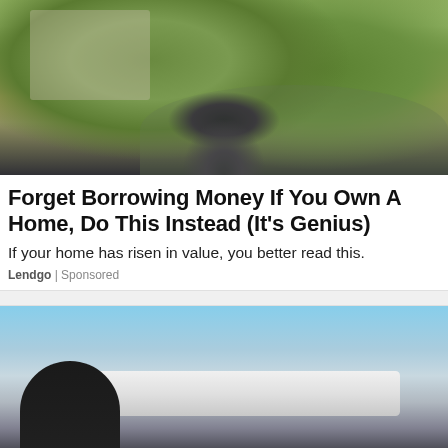[Figure (photo): Woman in dark dress standing in front of a large house with green lawn and trees]
Forget Borrowing Money If You Own A Home, Do This Instead (It's Genius)
If your home has risen in value, you better read this.
Lendgo | Sponsored
[Figure (photo): Wealthy couple in black suits standing in front of a private jet on the tarmac]